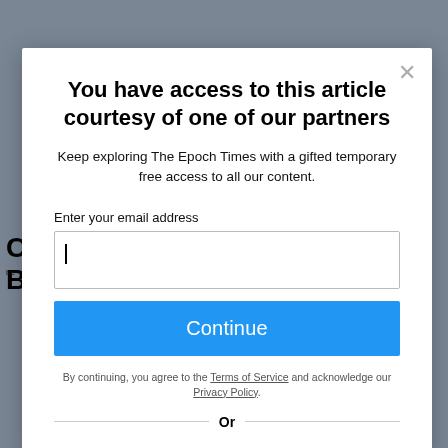You have access to this article courtesy of one of our partners
Keep exploring The Epoch Times with a gifted temporary free access to all our content.
Enter your email address
Continue
By continuing, you agree to the Terms of Service and acknowledge our Privacy Policy.
Or